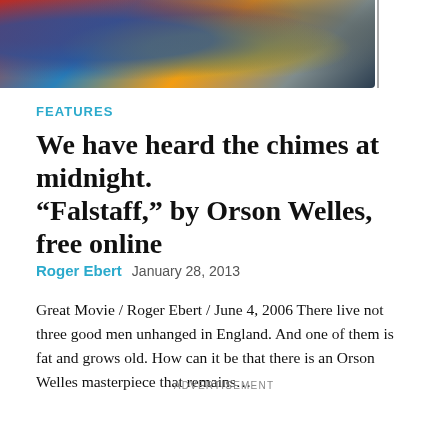[Figure (photo): Colorful painting or album art with blue, yellow, and red tones at the top of the page]
Features
We have heard the chimes at midnight. “Falstaff,” by Orson Welles, free online
Roger Ebert   January 28, 2013
Great Movie / Roger Ebert / June 4, 2006 There live not three good men unhanged in England. And one of them is fat and grows old. How can it be that there is an Orson Welles masterpiece that remains…
[Figure (screenshot): CoinFlip: So Flippin' Easy advertisement banner — CoinFlip Bitcoin ATM with orange coin logo and blue diamond arrow icon]